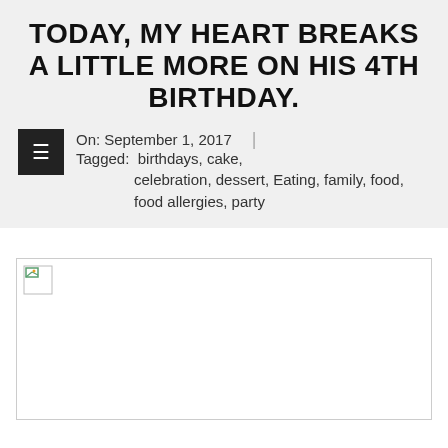TODAY, MY HEART BREAKS A LITTLE MORE ON HIS 4TH BIRTHDAY.
On: September 1, 2017  |  Tagged: birthdays, cake, celebration, dessert, Eating, family, food, food allergies, party
[Figure (photo): A broken/missing image placeholder representing a photo that failed to load]